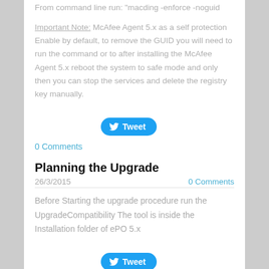From command line run: "macding -enforce -noguid"
Important Note: McAfee Agent 5.x as a self protection Enable by default, to remove the GUID you will need to run the command or to after installing the McAfee Agent 5.x reboot the system to safe mode and only then you can stop the services and delete the registry key manually.
[Figure (other): Tweet button]
0 Comments
Planning the Upgrade
26/3/2015
0 Comments
Before Starting the upgrade procedure run the UpgradeCompatibility The tool is inside the Installation folder of ePO 5.x
[Figure (other): Tweet button]
0 Comments